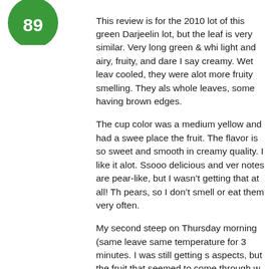[Figure (other): Green circular score badge showing '89']
This review is for the 2010 lot of this green Darjeelin lot, but the leaf is very similar. Very long green & whi light and airy, fruity, and dare I say creamy. Wet leav cooled, they were alot more fruity smelling. They als whole leaves, some having brown edges.

The cup color was a medium yellow and had a swee place the fruit. The flavor is so sweet and smooth in creamy quality. I like it alot. Ssooo delicious and ver notes are pear-like, but I wasn't getting that at all! Th pears, so I don't smell or eat them very often.

My second steep on Thursday morning (same leave same temperature for 3 minutes. I was still getting s aspects, but the fruit that seemed to come through w grapes, but green, which tend to be less sweet and s getting some tangy qualities on my tongue-but not b sometimes compared to muscat grapes. I could defi